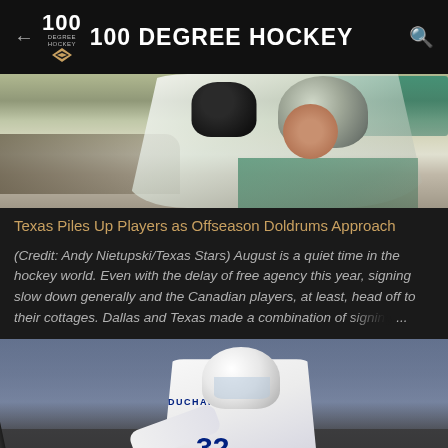100 DEGREE HOCKEY
[Figure (photo): Hockey players celebrating on ice, player wearing #24 white jersey, crowd in background with teal seats]
Texas Piles Up Players as Offseason Doldrums Approach
(Credit: Andy Nietupski/Texas Stars) August is a quiet time in the hockey world. Even with the delay of free agency this year, signing slow down generally and the Canadian players, at least, head off to their cottages. Dallas and Texas made a combination of signing ...
[Figure (photo): Hockey player wearing white jersey #32 with DUCHAMP name, red and blue Montreal Canadiens style stripes, taking a shot on ice, Skip and Needle logos visible on boards]